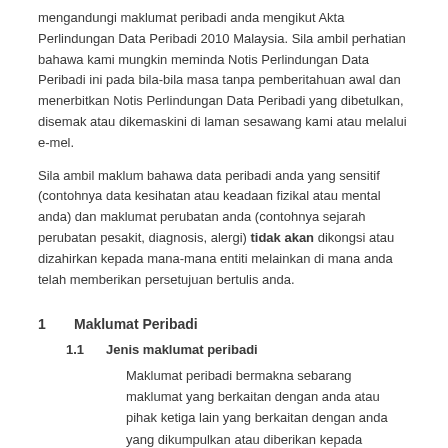mengandungi maklumat peribadi anda mengikut Akta Perlindungan Data Peribadi 2010 Malaysia. Sila ambil perhatian bahawa kami mungkin meminda Notis Perlindungan Data Peribadi ini pada bila-bila masa tanpa pemberitahuan awal dan menerbitkan Notis Perlindungan Data Peribadi yang dibetulkan, disemak atau dikemaskini di laman sesawang kami atau melalui e-mel.
Sila ambil maklum bahawa data peribadi anda yang sensitif (contohnya data kesihatan atau keadaan fizikal atau mental anda) dan maklumat perubatan anda (contohnya sejarah perubatan pesakit, diagnosis, alergi) tidak akan dikongsi atau dizahirkan kepada mana-mana entiti melainkan di mana anda telah memberikan persetujuan bertulis anda.
1    Maklumat Peribadi
1.1    Jenis maklumat peribadi
Maklumat peribadi bermakna sebarang maklumat yang berkaitan dengan anda atau pihak ketiga lain yang berkaitan dengan anda yang dikumpulkan atau diberikan kepada Sunway untuk tujuan-tujuan yang dinyatakan dalam Seksyen2 di bawah.